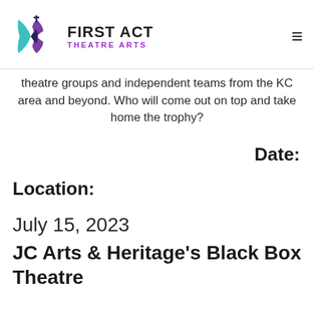[Figure (logo): First Act Theatre Arts logo with teal and purple butterfly/bow shapes and bold text]
theatre groups and independent teams from the KC area and beyond. Who will come out on top and take home the trophy?
Date:
Location:
July 15, 2023
JC Arts & Heritage's Black Box Theatre